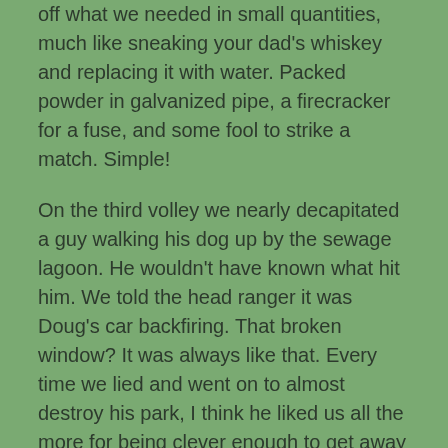off what we needed in small quantities, much like sneaking your dad's whiskey and replacing it with water. Packed powder in galvanized pipe, a firecracker for a fuse, and some fool to strike a match. Simple!
On the third volley we nearly decapitated a guy walking his dog up by the sewage lagoon. He wouldn't have known what hit him. We told the head ranger it was Doug's car backfiring. That broken window? It was always like that. Every time we lied and went on to almost destroy his park, I think he liked us all the more for being clever enough to get away with the shit I'm sure he wished he had done as a kid.
Fun While It Lasted
After four years I completed my dental education, and